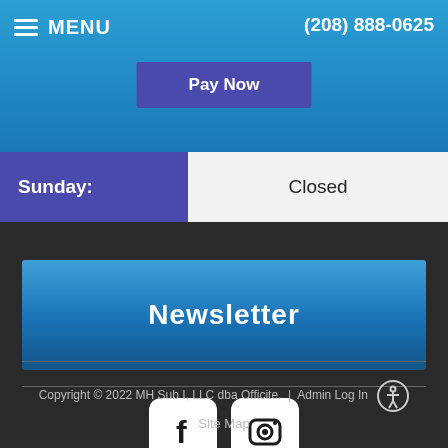≡ MENU  (208) 888-0625  Pay Now
| Day | Hours |
| --- | --- |
| Sunday: | Closed |
Newsletter
[Figure (illustration): Facebook and Instagram social media icons (white rounded square buttons with f and camera icons)]
Copyright © 2022 MH Sub I, LLC dba Officite.  |  Admin Log In  Site Map